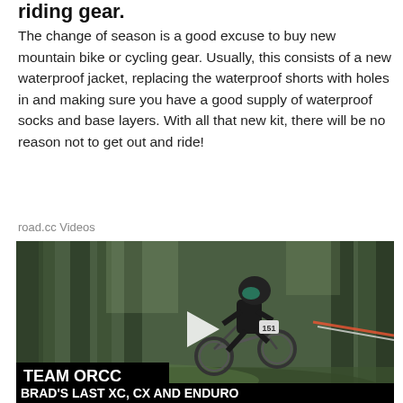riding gear.
The change of season is a good excuse to buy new mountain bike or cycling gear. Usually, this consists of a new waterproof jacket, replacing the waterproof shorts with holes in and making sure you have a good supply of waterproof socks and base layers. With all that new kit, there will be no reason not to get out and ride!
road.cc Videos
[Figure (photo): A mountain biker wearing full-face helmet and goggles riding a mountain bike through a forest. A video play button is overlaid on the image. Text overlays at the bottom read 'TEAM ORCC' and 'BRAD'S LAST XC, CX AND ENDURO'.]